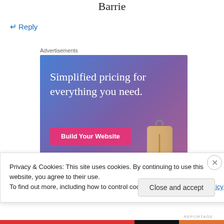Barrie
↵ Reply
Advertisements
[Figure (screenshot): Advertisement banner with blue-to-purple gradient background, text 'Simplified pricing for everything you need.' and a pink 'Build Your Website' button, with a price tag illustration on the right]
Privacy & Cookies: This site uses cookies. By continuing to use this website, you agree to their use.
To find out more, including how to control cookies, see here: Cookie Policy
Close and accept